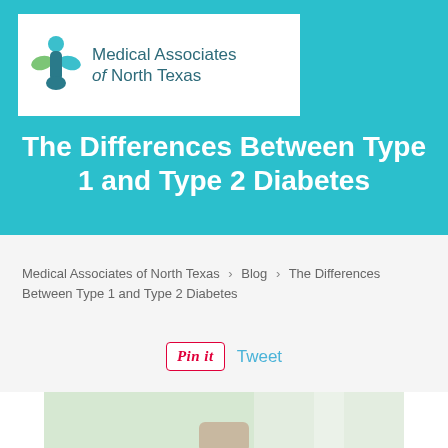[Figure (logo): Medical Associates of North Texas logo — colorful cross/plus icon in teal and green, with text 'Medical Associates of North Texas' in dark teal]
The Differences Between Type 1 and Type 2 Diabetes
Medical Associates of North Texas > Blog > The Differences Between Type 1 and Type 2 Diabetes
[Figure (other): Social sharing buttons: Pin it button and Tweet link]
[Figure (photo): Partial photo of a person, appearing to be a medical context image, cropped at bottom of page]